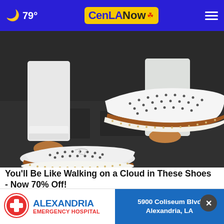🌙 79° CenLA Now
[Figure (photo): Close-up photo of a person's feet wearing white perforated slip-on sneakers with tan/brown sole trim and stitch detail, against a dark pavement background. Person is wearing white rolled-up jeans.]
You'll Be Like Walking on a Cloud in These Shoes - Now 70% Off!
Sursell
[Figure (logo): Alexandria Emergency Hospital logo with red cross, blue ALEXANDRIA text, red EMERGENCY HOSPITAL text, and teal/blue right panel showing address 5900 Coliseum Blvd Alexandria, LA]